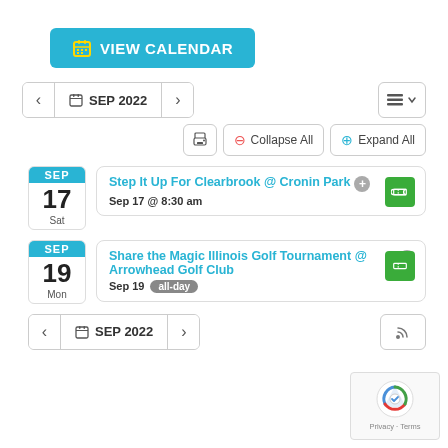[Figure (screenshot): View Calendar button with calendar icon, teal background]
< SEP 2022 >
[Figure (screenshot): Toolbar with print, Collapse All, Expand All buttons]
Step It Up For Clearbrook @ Cronin Park | Sep 17 @ 8:30 am | SEP 17 Sat
Share the Magic Illinois Golf Tournament @ Arrowhead Golf Club | Sep 19 all-day | SEP 19 Mon
< SEP 2022 >
[Figure (logo): reCAPTCHA logo with Privacy and Terms links]